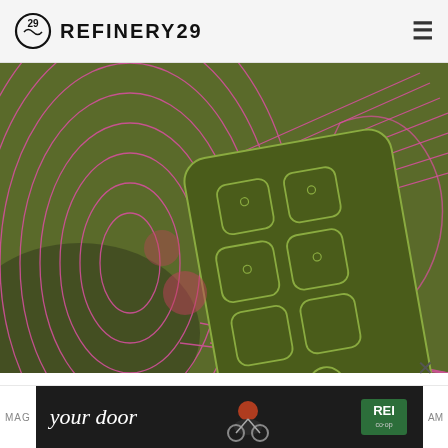REFINERY29
[Figure (illustration): Abstract digital illustration on olive/dark green background featuring a stylized smartphone with app grid icons and a human head silhouette outline, with pink/magenta decorative curved lines overlaid]
TECH
No Filters, No Addiction: Is The Newest Social Media App One That'll Stick?
[Figure (photo): Advertisement banner showing a person on a bicycle wearing an orange helmet, with REI co-op logo on dark background and text 'your door']